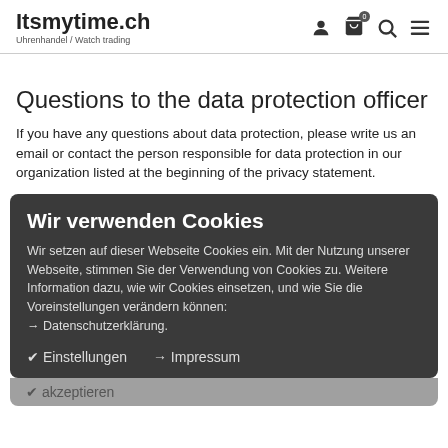Itsmytime.ch Uhrenhandel / Watch trading
Questions to the data protection officer
If you have any questions about data protection, please write us an email or contact the person responsible for data protection in our organization listed at the beginning of the privacy statement.
Wir verwenden Cookies
Wir setzen auf dieser Webseite Cookies ein. Mit der Nutzung unserer Webseite, stimmen Sie der Verwendung von Cookies zu. Weitere Information dazu, wie wir Cookies einsetzen, und wie Sie die Voreinstellungen verändern können: → Datenschutzerklärung.
✔ Einstellungen
→ Impressum
✔ akzeptieren